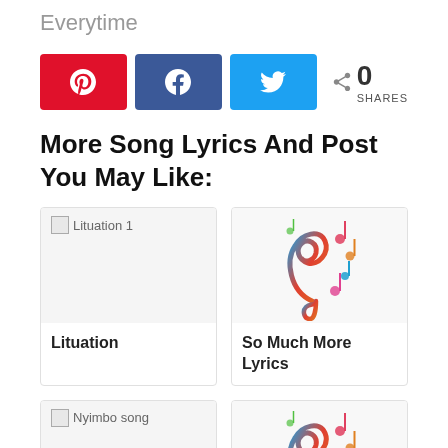Everytime
[Figure (other): Social share buttons: Pinterest (red), Facebook (blue), Twitter (light blue), and a share count showing 0 SHARES]
More Song Lyrics And Post You May Like:
[Figure (other): Card with broken image placeholder labeled 'Lituation 1' and card title 'Lituation']
[Figure (illustration): Card with colorful music clef/notes illustration, card title 'So Much More Lyrics']
[Figure (other): Card with broken image placeholder labeled 'Nyimbo song' and card title 'Pompi featuring Mag44']
[Figure (illustration): Card with partial colorful music clef/notes illustration (partially visible)]